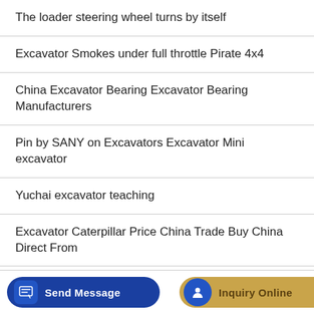The loader steering wheel turns by itself
Excavator Smokes under full throttle Pirate 4x4
China Excavator Bearing Excavator Bearing Manufacturers
Pin by SANY on Excavators Excavator Mini excavator
Yuchai excavator teaching
Excavator Caterpillar Price China Trade Buy China Direct From
Chongqing Lingong Loader Service Station
[Figure (screenshot): Bottom navigation bar with 'Send Message' button (blue rounded) and 'Inquiry Online' button (gold/tan rounded), each with icons]
Excavator starting with 2